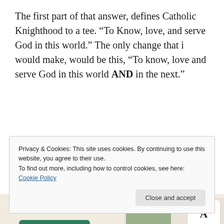The first part of that answer, defines Catholic Knighthood to a tee. “To Know, love, and serve God in this world.” The only change that i would make, would be this, “To know, love and serve God in this world AND in the next.”
↵ Reply
[Figure (screenshot): Partial view of a website advertisement banner with italic bold strikethrough text 'than a week', a green 'Explore options' button, and screenshots of a food/recipe website interface.]
Privacy & Cookies: This site uses cookies. By continuing to use this website, you agree to their use.
To find out more, including how to control cookies, see here: Cookie Policy
Close and accept